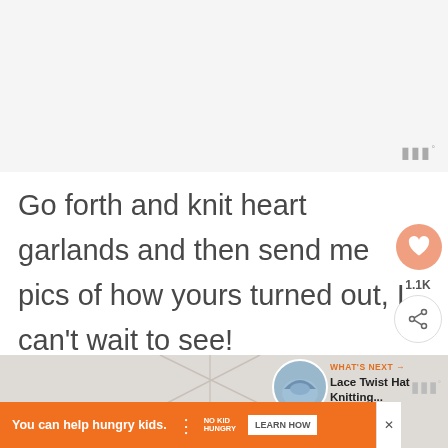[Figure (photo): Light gray/white blank image area at top of page with a small watermark icon in bottom-right corner]
Go forth and knit heart garlands and then send me pics of how yours turned out, I can't wait to see!
[Figure (photo): Bottom section showing a geometric triangular pattern on a light background, with a 'WHAT'S NEXT' card showing a person in a blue knit hat and 'Lace Twist Hat Knitting...' text, and an orange ad bar at the bottom reading 'You can help hungry kids.' with NO KID HUNGRY logo and LEARN HOW button]